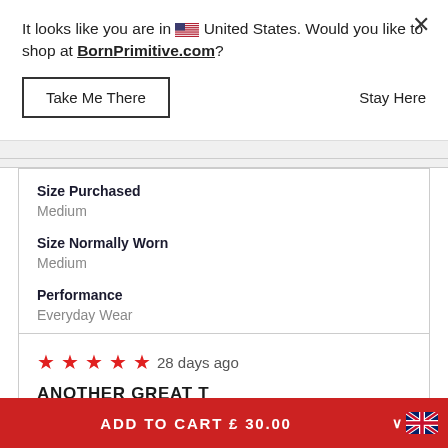It looks like you are in 🇺🇸 United States. Would you like to shop at BornPrimitive.com?
Take Me There
Stay Here
Size Purchased
Medium
Size Normally Worn
Medium
Performance
Everyday Wear
★★★★★ 28 days ago
ANOTHER GREAT T
ADD TO CART £ 30.00